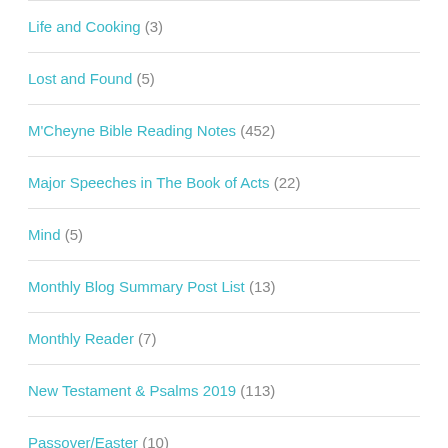Life and Cooking (3)
Lost and Found (5)
M'Cheyne Bible Reading Notes (452)
Major Speeches in The Book of Acts (22)
Mind (5)
Monthly Blog Summary Post List (13)
Monthly Reader (7)
New Testament & Psalms 2019 (113)
Passover/Easter (10)